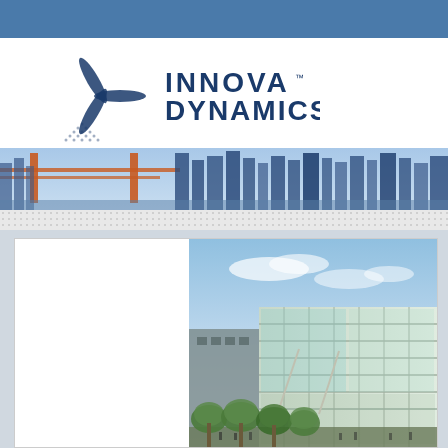[Figure (logo): Innova Dynamics company logo with stylized propeller/turbine icon in dark blue and the text INNOVA DYNAMICS]
[Figure (photo): City skyline panoramic strip showing Golden Gate Bridge and San Francisco skyline]
[Figure (photo): Modern glass office building exterior with trees in foreground under blue sky]